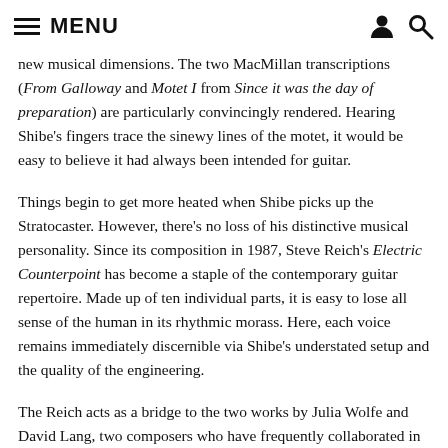MENU
new musical dimensions. The two MacMillan transcriptions (From Galloway and Motet I from Since it was the day of preparation) are particularly convincingly rendered. Hearing Shibe's fingers trace the sinewy lines of the motet, it would be easy to believe it had always been intended for guitar.
Things begin to get more heated when Shibe picks up the Stratocaster. However, there's no loss of his distinctive musical personality. Since its composition in 1987, Steve Reich's Electric Counterpoint has become a staple of the contemporary guitar repertoire. Made up of ten individual parts, it is easy to lose all sense of the human in its rhythmic morass. Here, each voice remains immediately discernible via Shibe's understated setup and the quality of the engineering.
The Reich acts as a bridge to the two works by Julia Wolfe and David Lang, two composers who have frequently collaborated in Bang on a Can, the ensemble they co-founded. Wolfe's LAD was